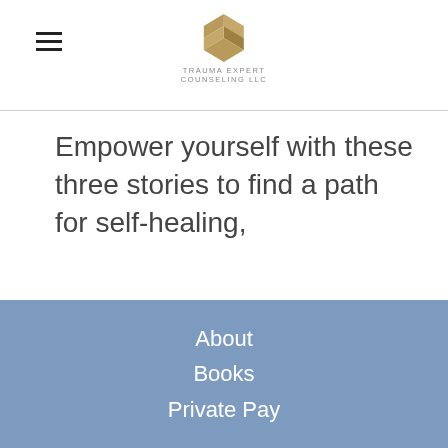Trauma Expert Counseling LLC [logo]
Empower yourself with these three stories to find a path for self-healing,
Find out more
About
Books
Private Pay